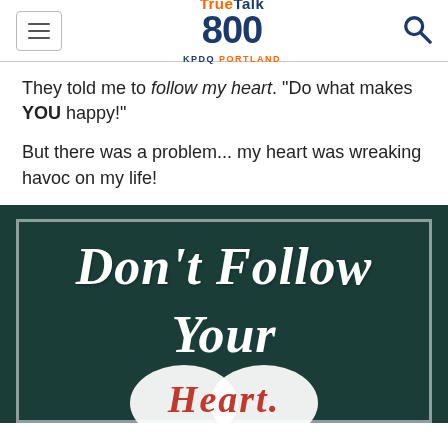TrueTalk 800 KPDQ PORTLAND
They told me to follow my heart. “Do what makes YOU happy!”
But there was a problem... my heart was wreaking havoc on my life!
[Figure (illustration): Dark teal background image with white bordered frame containing bold italic serif text reading DON’T FOLLOW YOUR and a heart graphic with the word HEART. in red letters]